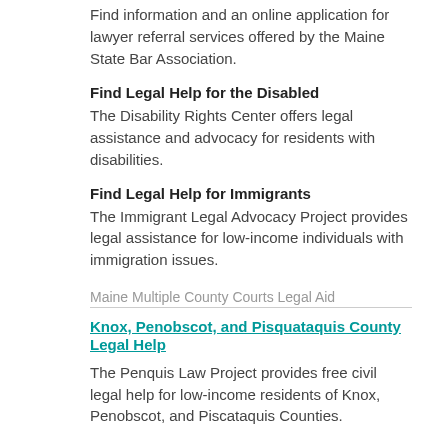Find information and an online application for lawyer referral services offered by the Maine State Bar Association.
Find Legal Help for the Disabled
The Disability Rights Center offers legal assistance and advocacy for residents with disabilities.
Find Legal Help for Immigrants
The Immigrant Legal Advocacy Project provides legal assistance for low-income individuals with immigration issues.
Maine Multiple County Courts Legal Aid
Knox, Penobscot, and Pisquataquis County Legal Help
The Penquis Law Project provides free civil legal help for low-income residents of Knox, Penobscot, and Piscataquis Counties.